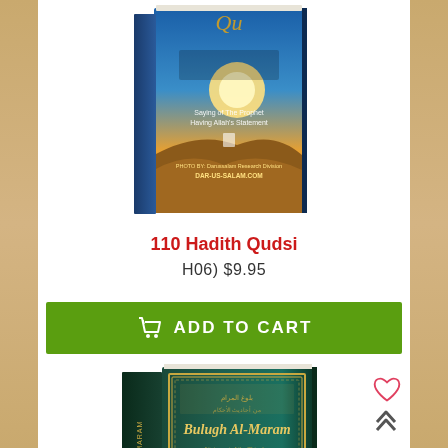[Figure (photo): Book cover image for '110 Hadith Qudsi' showing a desert sunset scene with golden light and text 'Saying of The Prophet Having Allah's Statement', photo by Darussalam Research Division, dar-us-salam.com]
110 Hadith Qudsi
H06) $9.95
[Figure (other): Green 'ADD TO CART' button with shopping cart icon]
[Figure (photo): Book cover image for 'Bulugh Al-Maram' showing a teal green hardcover book with gold decorative border and Arabic text, by Al-Hafiz Ibn Hajar Al-Asqalani, with notes from Bulugh-us-Salam]